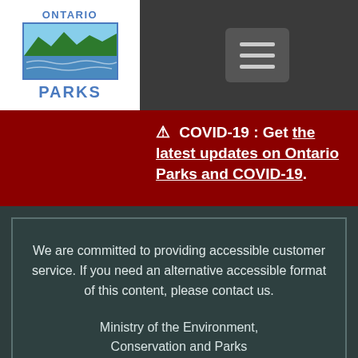[Figure (logo): Ontario Parks logo: white box with ONTARIO text above a landscape graphic (green trees, blue water) and PARKS text below in blue]
⚠ COVID-19 : Get the latest updates on Ontario Parks and COVID-19.
We are committed to providing accessible customer service. If you need an alternative accessible format of this content, please contact us.
Ministry of the Environment, Conservation and Parks
[Figure (logo): Ontario government wordmark: 'Ontario' text with trillium symbol in a circle]